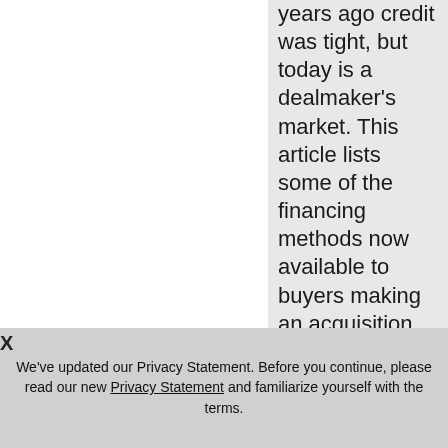years ago credit was tight, but today is a dealmaker's market. This article lists some of the financing methods now available to buyers making an acquisition, including bridge loans, debt capital, convertible debt, and
X
We've updated our Privacy Statement. Before you continue, please read our new Privacy Statement and familiarize yourself with the terms.